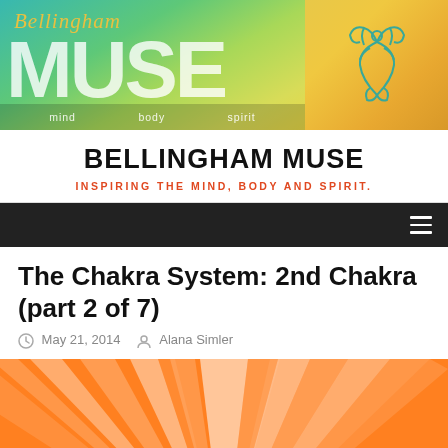[Figure (logo): Bellingham Muse website header banner with teal-green gradient on left showing 'Bellingham' in gold italic script and 'MUSE' in large white bold letters with 'mind body spirit' text bar at bottom, and gold/orange gradient on right with a decorative figure/lotus logo]
BELLINGHAM MUSE
INSPIRING THE MIND, BODY AND SPIRIT.
The Chakra System: 2nd Chakra (part 2 of 7)
May 21, 2014   Alana Simler
[Figure (illustration): Orange and white sunburst/radial ray pattern illustration, partial view showing bottom portion of the page]